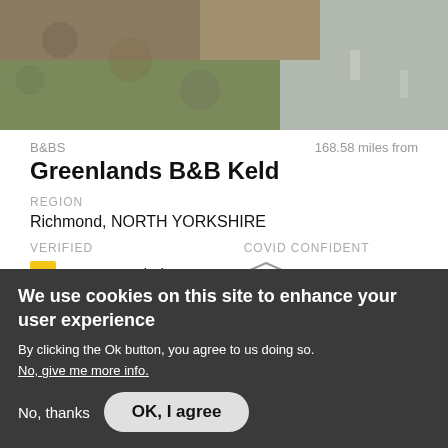[Figure (photo): Outdoor landscape photo showing heather/grass and a road, partially cropped at top of page]
B&BS
168.58 miles from
Greenlands B&B Keld
REGION
Richmond, NORTH YORKSHIRE
VERIFIED
COVID CONFIDENT
AA Recommended
[Figure (logo): AA Covid Confident shield logo in yellow and grey]
Find out more >
We use cookies on this site to enhance your user experience
By clicking the Ok button, you agree to us doing so.
No, give me more info.
No, thanks
OK, I agree